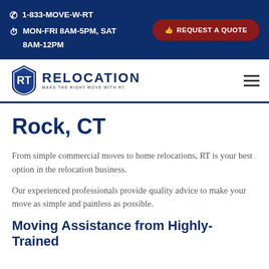1-833-MOVE-W-RT | MON-FRI 8AM-5PM, SAT 8AM-12PM | REQUEST A QUOTE
[Figure (logo): RT Relocation logo with shield icon and text 'RELOCATION - MAKE THE RIGHT MOVE WITH RT.']
Rock, CT
From simple commercial moves to home relocations, RT is your best option in the relocation business.
Our experienced professionals provide quality advice to make your move as simple and painless as possible.
Moving Assistance from Highly-Trained